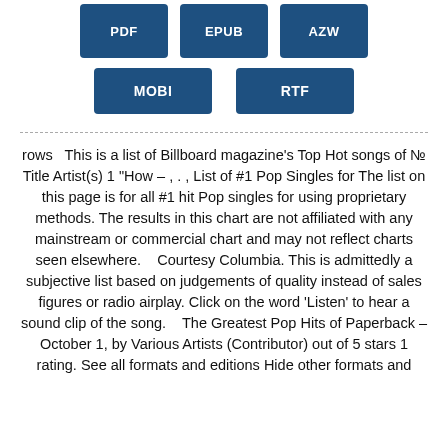[Figure (other): Three blue buttons partially visible at top (cut off), labeled with format names]
[Figure (other): Two blue buttons labeled MOBI and RTF]
rows  This is a list of Billboard magazine's Top Hot songs of № Title Artist(s) 1 "How – , . , List of #1 Pop Singles for The list on this page is for all #1 hit Pop singles for using proprietary methods. The results in this chart are not affiliated with any mainstream or commercial chart and may not reflect charts seen elsewhere.   Courtesy Columbia. This is admittedly a subjective list based on judgements of quality instead of sales figures or radio airplay. Click on the word 'Listen' to hear a sound clip of the song.   The Greatest Pop Hits of Paperback – October 1, by Various Artists (Contributor) out of 5 stars 1 rating. See all formats and editions Hide other formats and